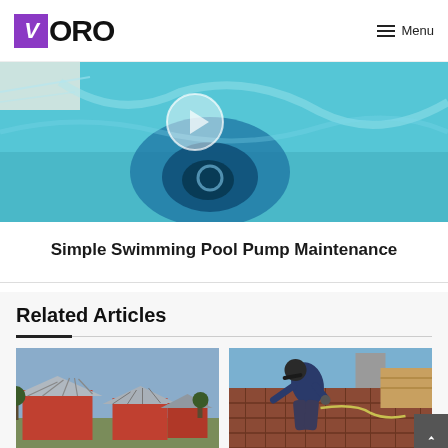VORO — Menu
[Figure (photo): Close-up of a blue swimming pool with a pool pump/drain visible, seen from above]
Simple Swimming Pool Pump Maintenance
Related Articles
[Figure (photo): Aerial view of buildings with metal roofs in a rural/suburban setting]
How Metal Roofs Perform Better Than Other Traditional Home Roofs
[Figure (photo): Worker/roofer crouching on a pitched roof installing tiles, blue sky background]
Pitched Roof Falls: What Are The Common Causes?